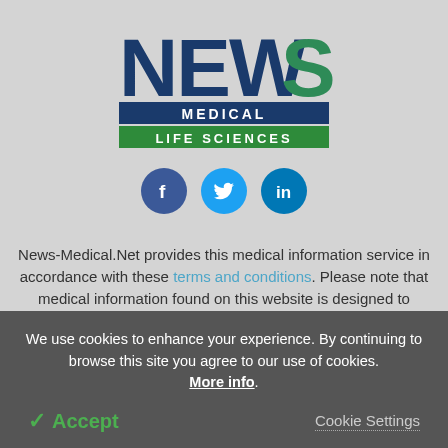[Figure (logo): News-Medical Life Sciences logo with social media icons (Facebook, Twitter, LinkedIn)]
News-Medical.Net provides this medical information service in accordance with these terms and conditions. Please note that medical information found on this website is designed to support, not to replace the relationship between patient and physician/doctor and the medical advice they may
We use cookies to enhance your experience. By continuing to browse this site you agree to our use of cookies. More info.
✓ Accept
Cookie Settings